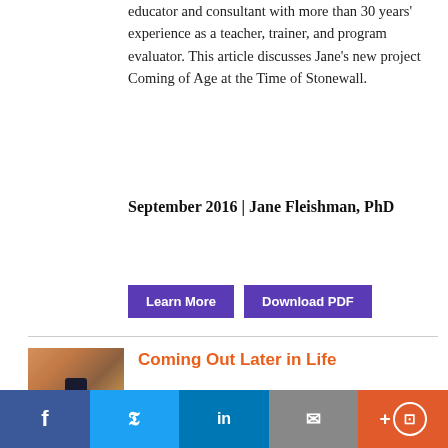educator and consultant with more than 30 years' experience as a teacher, trainer, and program evaluator. This article discusses Jane's new project Coming of Age at the Time of Stonewall.
September 2016 | Jane Fleishman, PhD
Learn More   Download PDF
[Figure (photo): Thumbnail photo showing a smartphone on a decorative surface with warm tones]
Coming Out Later in Life
This article is first...